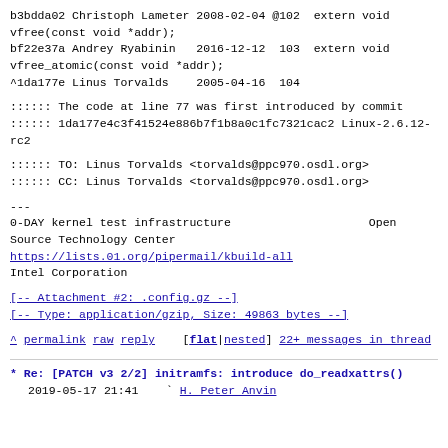b3bdda02 Christoph Lameter 2008-02-04 @102  extern void vfree(const void *addr);
bf22e37a Andrey Ryabinin   2016-12-12  103  extern void vfree_atomic(const void *addr);
^1da177e Linus Torvalds    2005-04-16  104
:::::: The code at line 77 was first introduced by commit
:::::: 1da177e4c3f41524e886b7f1b8a0c1fc7321cac2 Linux-2.6.12-rc2
:::::: TO: Linus Torvalds <torvalds@ppc970.osdl.org>
:::::: CC: Linus Torvalds <torvalds@ppc970.osdl.org>
---
0-DAY kernel test infrastructure                    Open Source Technology Center
https://lists.01.org/pipermail/kbuild-all
Intel Corporation
[-- Attachment #2: .config.gz --]
[-- Type: application/gzip, Size: 49863 bytes --]
^ permalink raw reply   [flat|nested] 22+ messages in thread
* Re: [PATCH v3 2/2] initramfs: introduce do_readxattrs()
2019-05-17 21:41    ` H. Peter Anvin